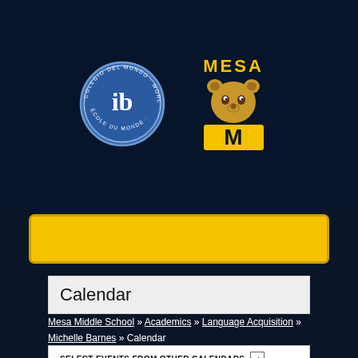[Figure (logo): IB World School circular badge logo with dark blue and silver colors]
[Figure (logo): Mesa school mascot logo - bear with M letter in gold and navy blue]
[Figure (other): Yellow navigation bar with rounded corners on dark navy background]
Calendar
Mesa Middle School » Academics » Language Acquisition » Michelle Barnes » Calendar
SELECT EVENTS FROM OTHER CALENDARS